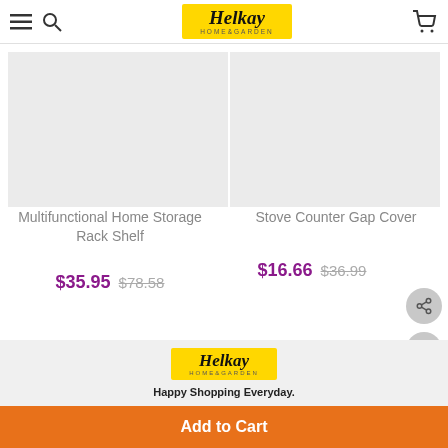[Figure (logo): Helkay Home & Garden logo in yellow banner, shown in header navigation bar]
[Figure (photo): Product image placeholder for Multifunctional Home Storage Rack Shelf (light gray box)]
Multifunctional Home Storage Rack Shelf
$35.95  $78.58
[Figure (photo): Product image placeholder for Stove Counter Gap Cover (light gray box)]
Stove Counter Gap Cover
$16.66  $36.99
[Figure (logo): Helkay Home & Garden logo in yellow rectangle in footer]
Happy Shopping Everyday.
Add to Cart